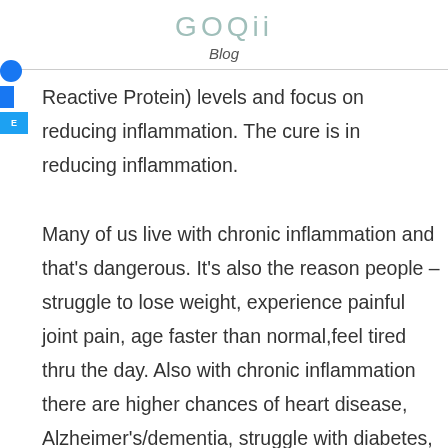GOQii
Blog
Reactive Protein) levels and focus on reducing inflammation. The cure is in reducing inflammation.

Many of us live with chronic inflammation and that's dangerous. It's also the reason people – struggle to lose weight, experience painful joint pain, age faster than normal,feel tired thru the day. Also with chronic inflammation there are higher chances of heart disease, Alzheimer's/dementia, struggle with diabetes, feel depressed. Lowsilent inflammation can destroy your nerves and cellular health, suppressing and weakening your immune